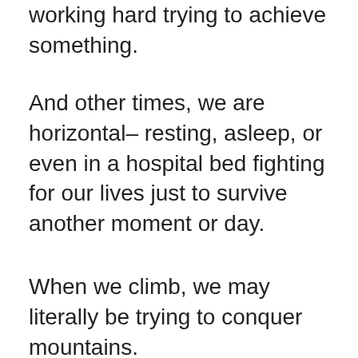working hard trying to achieve something.
And other times, we are horizontal– resting, asleep, or even in a hospital bed fighting for our lives just to survive another moment or day.
When we climb, we may literally be trying to conquer mountains.